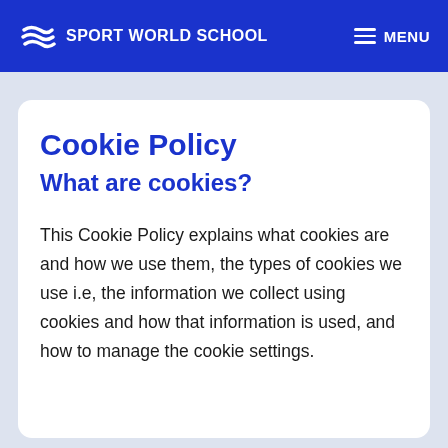SPORT WORLD SCHOOL   MENU
Cookie Policy
What are cookies?
This Cookie Policy explains what cookies are and how we use them, the types of cookies we use i.e, the information we collect using cookies and how that information is used, and how to manage the cookie settings.